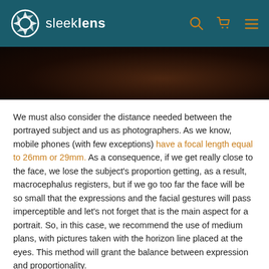sleeklens
[Figure (photo): Dark moody portrait photo strip, predominantly dark brown/black tones]
We must also consider the distance needed between the portrayed subject and us as photographers. As we know, mobile phones (with few exceptions) have a focal length equal to 26mm or 29mm. As a consequence, if we get really close to the face, we lose the subject's proportion getting, as a result, macrocephalus registers, but if we go too far the face will be so small that the expressions and the facial gestures will pass imperceptible and let's not forget that is the main aspect for a portrait. So, in this case, we recommend the use of medium plans, with pictures taken with the horizon line placed at the eyes. This method will grant the balance between expression and proportionality.
For centering the attention in the portrayed subject, we can